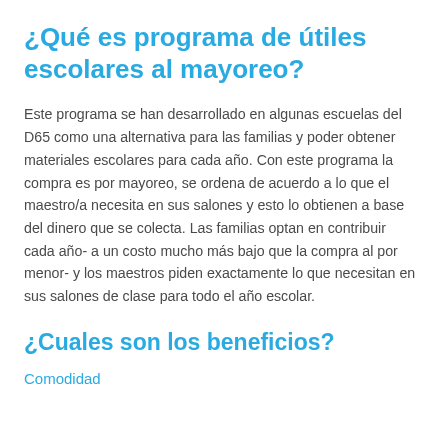¿Qué es programa de útiles escolares al mayoreo?
Este programa se han desarrollado en algunas escuelas del D65 como una alternativa para las familias y poder obtener materiales escolares para cada año. Con este programa la compra es por mayoreo, se ordena de acuerdo a lo que el maestro/a necesita en sus salones y esto lo obtienen a base del dinero que se colecta. Las familias optan en contribuir cada año- a un costo mucho más bajo que la compra al por menor- y los maestros piden exactamente lo que necesitan en sus salones de clase para todo el año escolar.
¿Cuales son los beneficios?
Comodidad